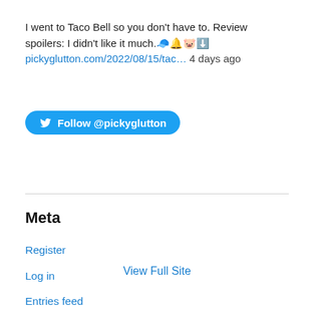I went to Taco Bell so you don't have to. Review spoilers: I didn't like it much.🧢🔔🐷⬇️ pickyglutton.com/2022/08/15/tac… 4 days ago
[Figure (other): Twitter Follow button: Follow @pickyglutton]
Meta
Register
Log in
Entries feed
Comments feed
WordPress.com
View Full Site